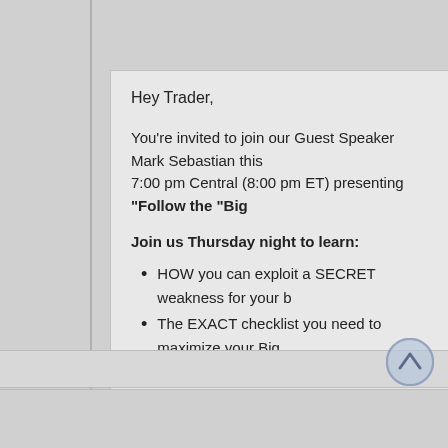Hey Trader,
You're invited to join our Guest Speaker Mark Sebastian this 7:00 pm Central (8:00 pm ET) presenting "Follow the "Big
Join us Thursday night to learn:
HOW you can exploit a SECRET weakness for your b
The EXACT checklist you need to maximize your Big
HOW Big Money Moves Markets
and much more...
for FREE!
Click here to register for free.